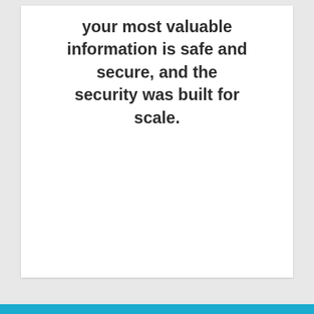your most valuable information is safe and secure, and the security was built for scale.